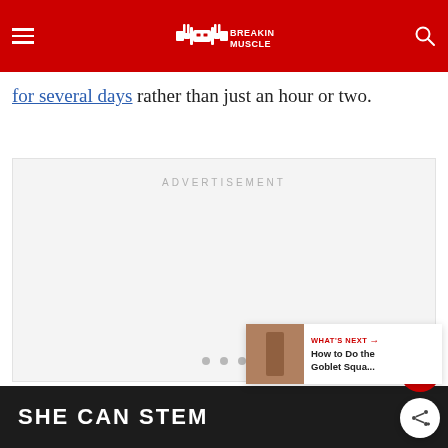Breaking Muscle
for several days rather than just an hour or two.
[Figure (other): Advertisement placeholder box with text ADVERTISEMENT]
WHAT'S NEXT → How to Do the Goblet Squa...
SHE CAN STEM